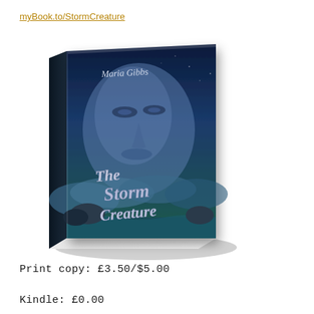myBook.to/StormCreature
[Figure (photo): Book cover of 'The Storm Creature' by Maria Gibbs — a dark blue fantasy novel cover showing a close-up of a face with a crescent moon above, stormy clouds, and silver calligraphic title text. The book is shown in 3D perspective tilted slightly.]
Print copy: £3.50/$5.00
Kindle: £0.00